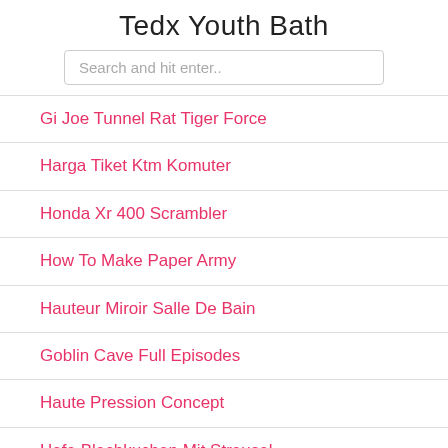Tedx Youth Bath
Search and hit enter..
Gi Joe Tunnel Rat Tiger Force
Harga Tiket Ktm Komuter
Honda Xr 400 Scrambler
How To Make Paper Army
Hauteur Miroir Salle De Bain
Goblin Cave Full Episodes
Haute Pression Concept
Hefe Blechkuchen Mit Streusel
Goblin Cave Episode1
Granny Square Muster Haekelschrift